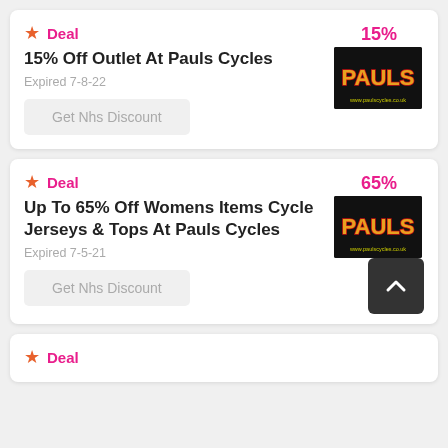Deal – 15% Off Outlet At Pauls Cycles
15% Off Outlet At Pauls Cycles
Expired 7-8-22
Get Nhs Discount
Deal – Up To 65% Off Womens Items Cycle Jerseys & Tops At Pauls Cycles
Up To 65% Off Womens Items Cycle Jerseys & Tops At Pauls Cycles
Expired 7-5-21
Get Nhs Discount
Deal